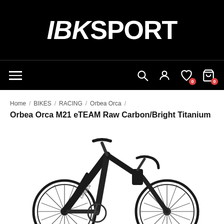[Figure (logo): IBKsport logo — white bold italic text on black background. 'IBK' in heavy italic, 'SPORT' in regular weight caps.]
[Figure (screenshot): Navigation bar with hamburger menu on left and icons (search, user, wishlist with badge 0, cart with badge 0) on right, on black background.]
Home / BIKES / RACING / Orbea Orca /
Orbea Orca M21 eTEAM Raw Carbon/Bright Titanium
[Figure (photo): Photo of a dark carbon road bicycle (Orbea Orca M21 eTEAM) with black/titanium colorway, shown in profile view against white background.]